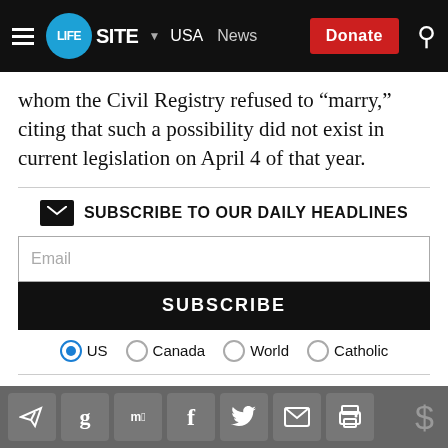LIFESITE · USA · News · Donate
whom the Civil Registry refused to “marry,” citing that such a possibility did not exist in current legislation on April 4 of that year.
[Figure (infographic): Subscribe to our daily headlines section with email input, subscribe button, and radio buttons for US (selected), Canada, World, Catholic]
With the election to the presidency of socialist
Social share icons: Telegram, Google, MeWe, Facebook, Twitter, Email, Print, Dollar